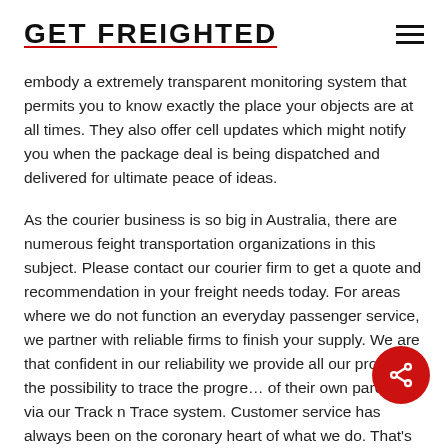GET FREIGHTED
embody a extremely transparent monitoring system that permits you to know exactly the place your objects are at all times. They also offer cell updates which might notify you when the package deal is being dispatched and delivered for ultimate peace of ideas.
As the courier business is so big in Australia, there are numerous feight transportation organizations in this subject. Please contact our courier firm to get a quote and recommendation in your freight needs today. For areas where we do not function an everyday passenger service, we partner with reliable firms to finish your supply. We are that confident in our reliability we provide all our prospects the possibility to trace the progress of their own parcels via our Track n Trace system. Customer service has always been on the coronary heart of what we do. That’s why